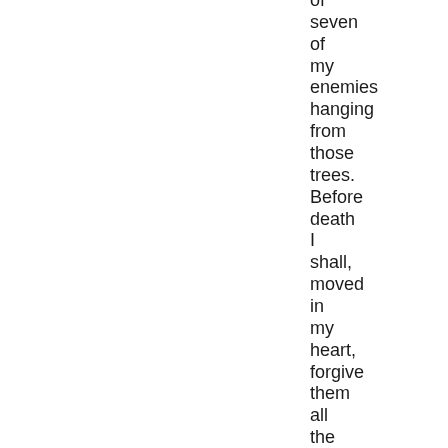of seven of my enemies hanging from those trees. Before death I shall, moved in my heart, forgive them all the wrong they did me in their lifetime. One must